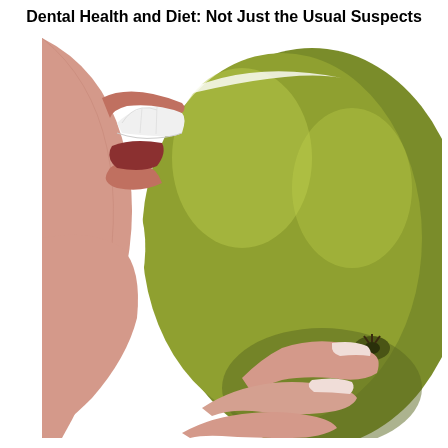Dental Health and Diet: Not Just the Usual Suspects
[Figure (photo): Close-up photo of a person biting into a green apple, held in their hand. The person's teeth and lips are visible on the left side, and the green apple with fingers holding it is prominent on the right.]